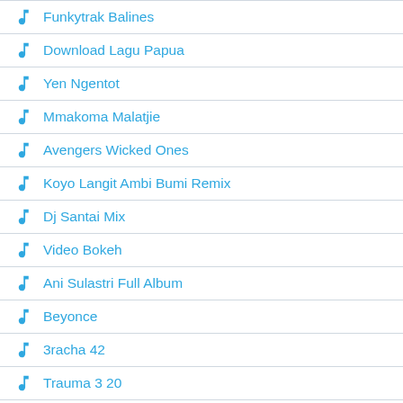Funkytrak Balines
Download Lagu Papua
Yen Ngentot
Mmakoma Malatjie
Avengers Wicked Ones
Koyo Langit Ambi Bumi Remix
Dj Santai Mix
Video Bokeh
Ani Sulastri Full Album
Beyonce
3racha 42
Trauma 3 20
Dil Hai Betab
Ost Master The Sun
Dhyo Sekeras Batu